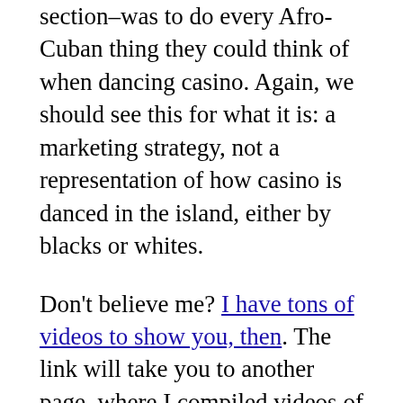section–was to do every Afro-Cuban thing they could think of when dancing casino. Again, we should see this for what it is: a marketing strategy, not a representation of how casino is danced in the island, either by blacks or whites.
Don't believe me? I have tons of videos to show you, then. The link will take you to another page, where I compiled videos of people in Cuba dancing casino. Mind you, these are not instructors in a workshop/promotional video setting. These are regular Cuban people (most of them black) dancing casino. Let me know if you see any Orishas doing their dancing...